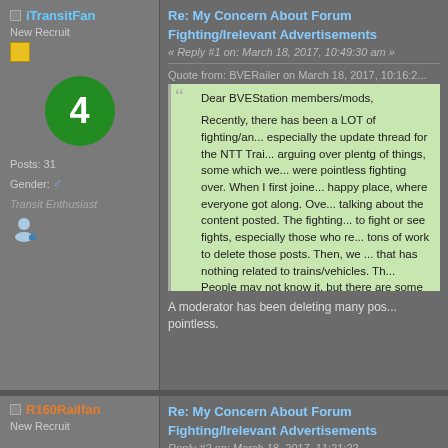iTransitFan
New Recruit
Posts: 31
Gender: [male icon]
Transit Enthusiast
Re: My Concern About Forum Fighting/Irelevant Advertisements
« Reply #1 on: March 18, 2017, 10:49:30 am »
Quote from: BVERailer on March 18, 2017, 10:16:2...
Dear BVEStation members/mods,

Recently, there has been a LOT of fighting/an... especially the update thread for the NTT Trai... arguing over plentg of things, some which we... were pointless fighting over. When I first joine... happy place, where everyone got along. Ove... talking about the content posted. The fighting... to fight or see fights, especially those who re... tons of work to delete those posts. Then, we ... that has nothing related to trains/vehicles. Th... People may not know it, but there are some y... these innapropriate posts. All in all, I believe t... changed or we are going to have some big pr...
A moderator has been deleting many pos... pointless.
R160Railfan
New Recruit
Re: My Concern About Forum Fighting/Irelevant Advertisements
Reply #2 on: March 18, 2017, 11:21:22 ...